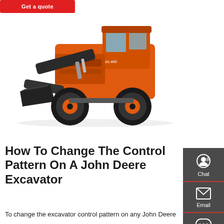[Figure (other): Red 'Get a quote' button at top left of page]
[Figure (photo): Orange wheeled front-loader/excavator machine (Doosan brand) on white background, facing left with bucket attachment raised slightly]
[Figure (other): Dark grey sidebar with Chat, Email, and Contact icons and labels]
How To Change The Control Pattern On A John Deere Excavator
To change the excavator control pattern on any John Deere